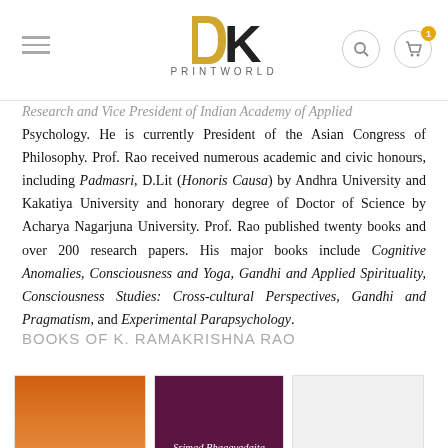[Figure (logo): DK Printworld logo with hamburger menu, search icon, and cart icon with badge showing 1]
Research and Vice President of Indian Academy of Applied Psychology. He is currently President of the Asian Congress of Philosophy. Prof. Rao received numerous academic and civic honours, including Padmasri, D.Lit (Honoris Causa) by Andhra University and Kakatiya University and honorary degree of Doctor of Science by Acharya Nagarjuna University. Prof. Rao published twenty books and over 200 research papers. His major books include Cognitive Anomalies, Consciousness and Yoga, Gandhi and Applied Spirituality, Consciousness Studies: Cross-cultural Perspectives, Gandhi and Pragmatism, and Experimental Parapsychology.
BOOKS OF K. RAMAKRISHNA RAO
[Figure (photo): Three book thumbnails partially visible at bottom: an orange/yellow cover, a purple cover reading 'Srimad Bhagavadgita A Treatise on Counseling', and a white/grey cover]